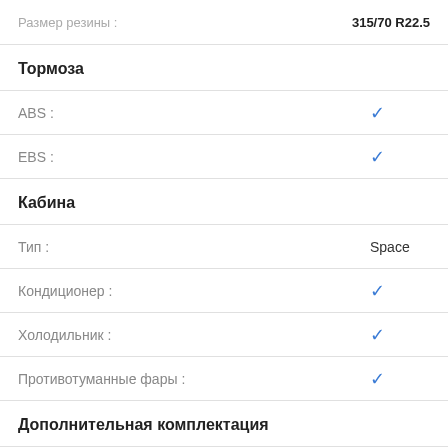Тормоза
ABS : ✓
EBS : ✓
Кабина
Тип : Space
Кондиционер : ✓
Холодильник : ✓
Противотуманные фары : ✓
Дополнительная комплектация
PTO : ✓